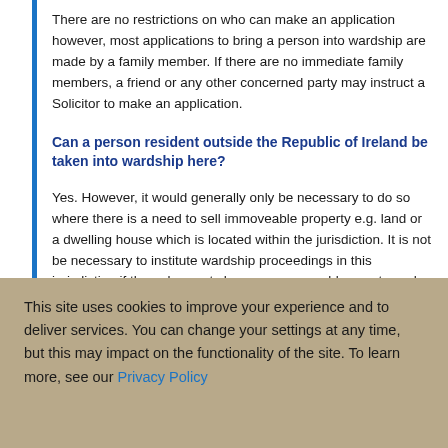There are no restrictions on who can make an application however, most applications to bring a person into wardship are made by a family member. If there are no immediate family members, a friend or any other concerned party may instruct a Solicitor to make an application.
Can a person resident outside the Republic of Ireland be taken into wardship here?
Yes. However, it would generally only be necessary to do so where there is a need to sell immoveable property e.g. land or a dwelling house which is located within the jurisdiction. It is not be necessary to institute wardship proceedings in this jurisdiction if the only assets here were moveable assets such as a bank account.
Is the application that has been made available for all to...
This site uses cookies to improve your experience and to deliver services. You can change your settings at any time, but this may impact on the functionality of the site. To learn more, see our Privacy Policy